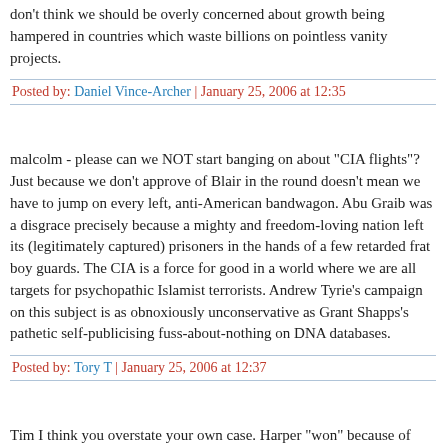don't think we should be overly concerned about growth being hampered in countries which waste billions on pointless vanity projects.
Posted by: Daniel Vince-Archer | January 25, 2006 at 12:35
malcolm - please can we NOT start banging on about "CIA flights"? Just because we don't approve of Blair in the round doesn't mean we have to jump on every left, anti-American bandwagon. Abu Graib was a disgrace precisely because a mighty and freedom-loving nation left its (legitimately captured) prisoners in the hands of a few retarded frat boy guards. The CIA is a force for good in a world where we are all targets for psychopathic Islamist terrorists. Andrew Tyrie's campaign on this subject is as obnoxiously unconservative as Grant Shapps's pathetic self-publicising fuss-about-nothing on DNA databases.
Posted by: Tory T | January 25, 2006 at 12:37
Tim I think you overstate your own case. Harper "won" because of Liberal scandals and won't last.
Bush won because of a highly suspicious court judgement preventing a recount that would almost certainly have given Florida to Al Gore.
These are also not similar countries, they are new world countries with very